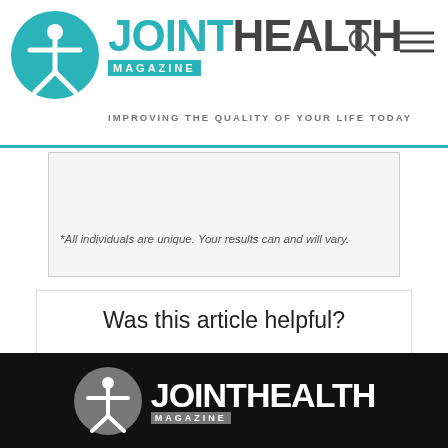JOINT HEALTH MAGAZINE — IMPROVING THE QUALITY OF YOUR LIFE TODAY
*All individuals are unique. Your results can and will vary.
Was this article helpful?
[Figure (other): Green circle with checkmark (yes button) and red circle with X (no button) for article helpful feedback]
Joint Health Magazine logo footer on black background